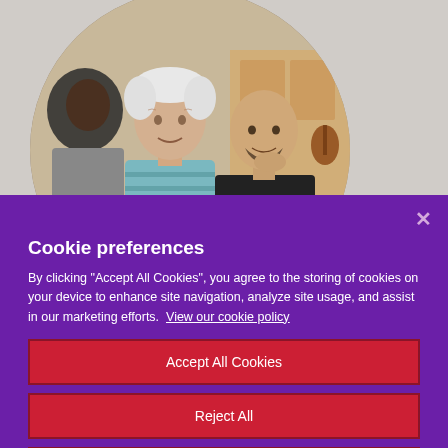[Figure (photo): Three men sitting together in a room, appearing to be in conversation. An older white-haired man in a striped shirt is in the center, a Black man in a gray suit is on the left, and a tattooed man in a black t-shirt is on the right. The image is cropped in a circle.]
Cookie preferences
By clicking "Accept All Cookies", you agree to the storing of cookies on your device to enhance site navigation, analyze site usage, and assist in our marketing efforts.  View our cookie policy
Accept All Cookies
Reject All
Cookies Settings